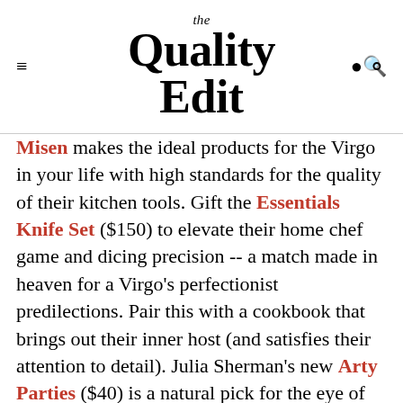the Quality Edit
Misen makes the ideal products for the Virgo in your life with high standards for the quality of their kitchen tools. Gift the Essentials Knife Set ($150) to elevate their home chef game and dicing precision -- a match made in heaven for a Virgo's perfectionist predilections. Pair this with a cookbook that brings out their inner host (and satisfies their attention to detail). Julia Sherman's new Arty Parties ($40) is a natural pick for the eye of the holiday hosting storm.
The perfect Virgo holiday gift is all about striking a balance -- think: pragmatic luxury. Send them F. Miller's Necessity Kit ($129), which delivers...